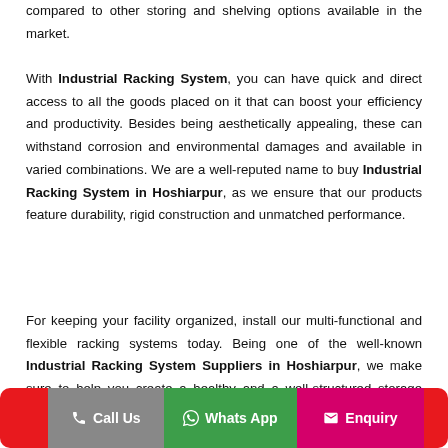compared to other storing and shelving options available in the market.
With Industrial Racking System, you can have quick and direct access to all the goods placed on it that can boost your efficiency and productivity. Besides being aesthetically appealing, these can withstand corrosion and environmental damages and available in varied combinations. We are a well-reputed name to buy Industrial Racking System in Hoshiarpur, as we ensure that our products feature durability, rigid construction and unmatched performance.
For keeping your facility organized, install our multi-functional and flexible racking systems today. Being one of the well-known Industrial Racking System Suppliers in Hoshiarpur, we make sure to help you create a healthy and a well-structured storage facility to keep your business running properly.
Call Us  Whats App  Enquiry